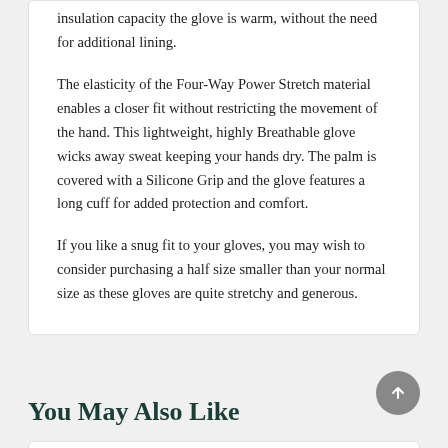insulation capacity the glove is warm, without the need for additional lining.
The elasticity of the Four-Way Power Stretch material enables a closer fit without restricting the movement of the hand. This lightweight, highly Breathable glove wicks away sweat keeping your hands dry. The palm is covered with a Silicone Grip and the glove features a long cuff for added protection and comfort.
If you like a snug fit to your gloves, you may wish to consider purchasing a half size smaller than your normal size as these gloves are quite stretchy and generous.
You May Also Like